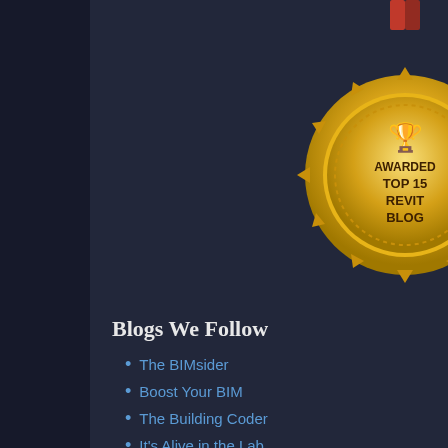[Figure (illustration): Gold medal/badge with a trophy icon and text 'AWARDED TOP 15 REVIT BLOG']
Blogs We Follow
The BIMsider
Boost Your BIM
The Building Coder
It's Alive in the Lab
The Revit Kid
Revit OpEd
What Revit Wants
Other Revit Add-in
an inte
choose.
After the pas password du password ca FamilySecuri
NOTE: This a when someo
There's more
Posted by Tim
Labels: Family
Change Free Ac